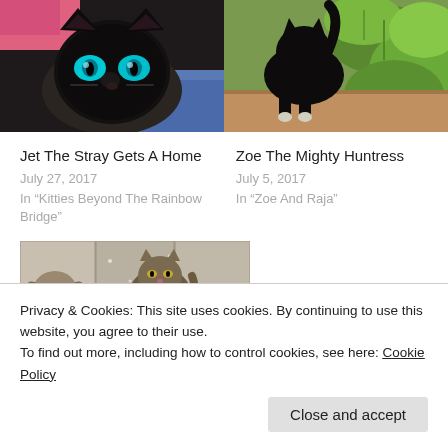[Figure (photo): Close-up photo of a black cat with striking blue eyes, lying on colorful fabric]
[Figure (photo): Black cat photographed from behind near green leafy plants outdoors]
Jet The Stray Gets A Home
July 27, 2017
In "Kitties Beyond The Rainbow Bridge"
Zoe The Mighty Huntress
July 5, 2017
In "Zoe And Raja"
[Figure (photo): A dog and a striped/tabby cat sitting together near a stone wall or fence]
Privacy & Cookies: This site uses cookies. By continuing to use this website, you agree to their use.
To find out more, including how to control cookies, see here: Cookie Policy